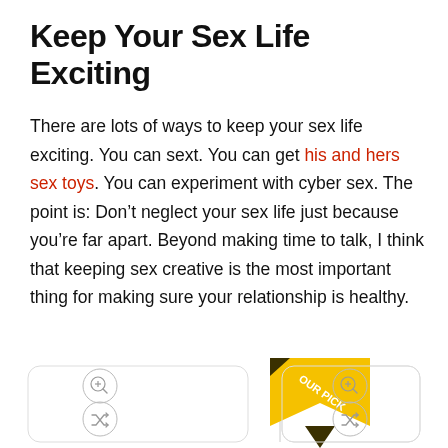Keep Your Sex Life Exciting
There are lots of ways to keep your sex life exciting. You can sext. You can get his and hers sex toys. You can experiment with cyber sex. The point is: Don’t neglect your sex life just because you’re far apart. Beyond making time to talk, I think that keeping sex creative is the most important thing for making sure your relationship is healthy.
[Figure (other): Product cards with OUR PICK ribbon banner in yellow/gold, showing two product image placeholders with zoom and shuffle icons. A yellow ribbon with 'OUR PICK' text is draped over the divider between the two cards.]